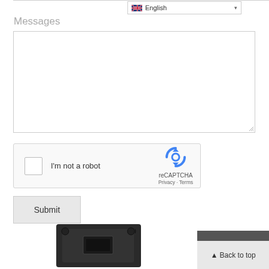[Figure (screenshot): Language selector dropdown showing UK flag and 'English' label with dropdown arrow]
Messages
[Figure (screenshot): Empty textarea input box with resize handle at bottom right]
[Figure (screenshot): reCAPTCHA widget with checkbox, 'I'm not a robot' text, and reCAPTCHA logo with Privacy and Terms links]
[Figure (screenshot): Submit button]
[Figure (photo): Dark electronic component/enclosure at the bottom of the page]
[Figure (screenshot): Back to top button with triangle arrow in bottom right corner]